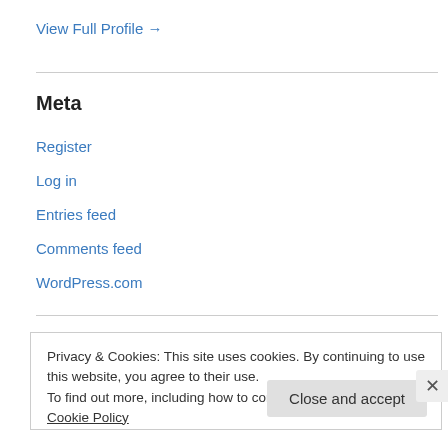View Full Profile →
Meta
Register
Log in
Entries feed
Comments feed
WordPress.com
Privacy & Cookies: This site uses cookies. By continuing to use this website, you agree to their use. To find out more, including how to control cookies, see here: Cookie Policy
Close and accept